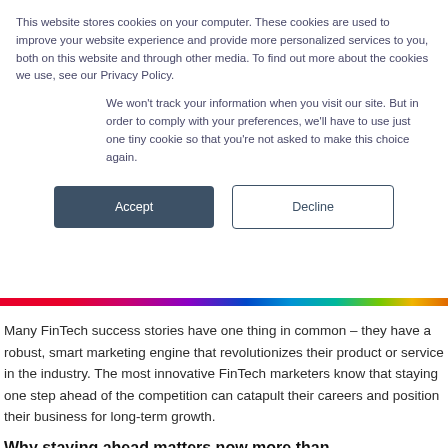This website stores cookies on your computer. These cookies are used to improve your website experience and provide more personalized services to you, both on this website and through other media. To find out more about the cookies we use, see our Privacy Policy.
We won't track your information when you visit our site. But in order to comply with your preferences, we'll have to use just one tiny cookie so that you're not asked to make this choice again.
[Figure (other): Cookie consent buttons: Accept (dark blue filled) and Decline (outlined)]
[Figure (other): Rainbow gradient horizontal bar separator]
Many FinTech success stories have one thing in common – they have a robust, smart marketing engine that revolutionizes their product or service in the industry. The most innovative FinTech marketers know that staying one step ahead of the competition can catapult their careers and position their business for long-term growth.
Why staying ahead matters now more than